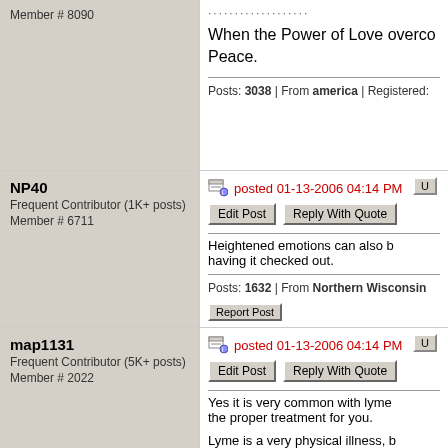Member # 8090
When the Power of Love overcomes... Peace.
Posts: 3038 | From america | Registered:
NP40
Frequent Contributor (1K+ posts)
Member # 6711
posted 01-13-2006 04:14 PM
Heightened emotions can also b... having it checked out.
Posts: 1632 | From Northern Wisconsin
map1131
Frequent Contributor (5K+ posts)
Member # 2022
posted 01-13-2006 04:14 PM
Yes it is very common with lyme... the proper treatment for you.
Lyme is a very physical illness, b... spiritual illness. All avenues nee...
Take care, Pam
--------------------
"Never, never, never, never, nev...
Posts: 6444 | From Louisville, Ky | Regi...